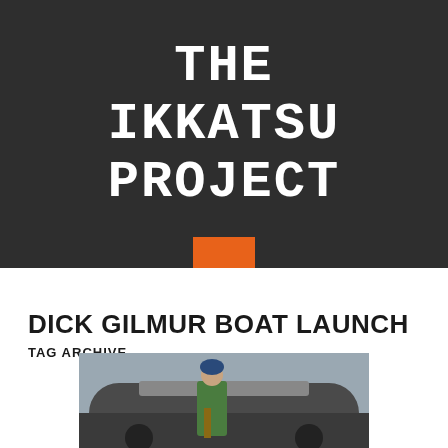THE IKKATSU PROJECT
DICK GILMUR BOAT LAUNCH
TAG ARCHIVE
[Figure (photo): Photo of a person in a yellow/green jacket standing in front of a vehicle, partially visible at the bottom of the page]